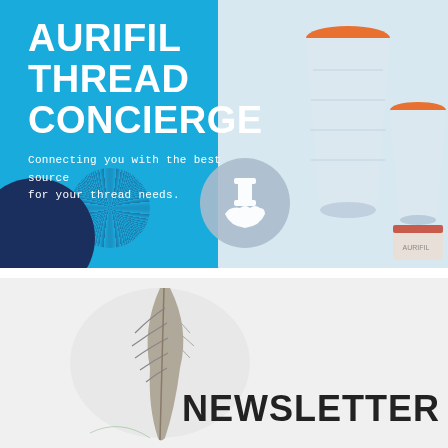AURIFIL THREAD CONCIERGE
Connecting you with the best source for your thread needs.
[Figure (photo): White thread spools/cones with orange caps, branded Aurifil, on a bright blue background with decorative dark navy circles and a gray circle with a hand/concierge icon]
[Figure (photo): Feather on light gray/white background with the word NEWSLETTER in large bold black text]
NEWSLETTER